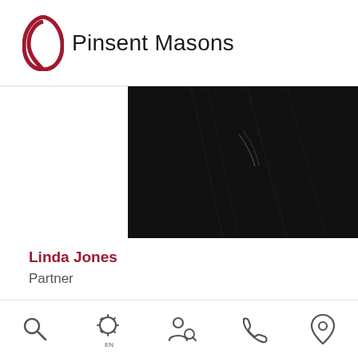[Figure (logo): Pinsent Masons logo: red teardrop/oval shape icon followed by 'Pinsent Masons' text in dark grey]
[Figure (photo): Partial portrait photo of a person in dark clothing against dark background, cropped at top]
Linda Jones
Partner
[Figure (logo): Large Pinsent Masons teardrop logo mark in dark navy/charcoal, decorative partial crop]
Navigation bar with search, settings (EN), people search, phone, and location icons